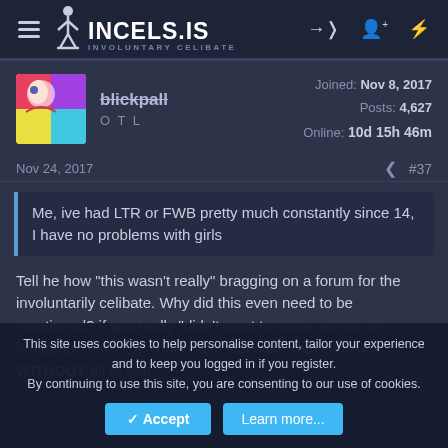INCELS.IS INVOLUNTARY CELIBATE
blickpall
O T L
Joined: Nov 8, 2017
Posts: 4,627
Online: 10d 15h 46m
Nov 24, 2017 #37
Me, ive had LTR or FWB pretty much constantly since 14, I have no problems with girls
Tell he how "this wasn't really" bragging on a forum for the involuntarily celibate. Why did this even need to be mentioned? if you really "didn't want to come across as bragging," then you could have just said what you said WITHOUT all of that,
This site uses cookies to help personalise content, tailor your experience and to keep you logged in if you register.
By continuing to use this site, you are consenting to our use of cookies.